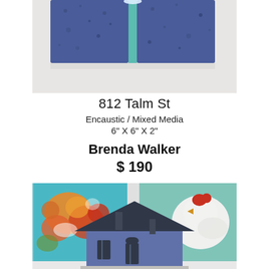[Figure (photo): Top portion of an encaustic/mixed media artwork showing two blue textured rectangular panels with a teal vertical stripe between them, on a light gray surface.]
812 Talm St
Encaustic / Mixed Media
6" X 6" X 2"
Brenda Walker
$ 190
[Figure (photo): Bottom photo showing a blue ceramic/sculpted house figure in the foreground, with two colorful paintings visible behind it — one with orange and red floral motifs and another with a white rooster on teal background.]